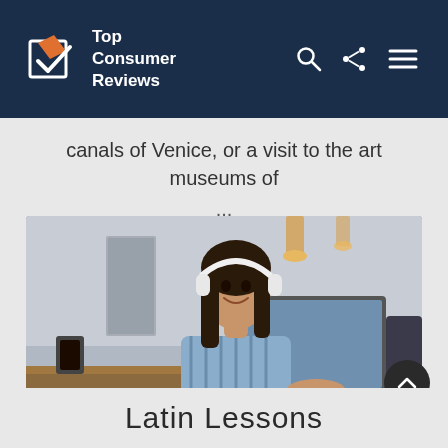Top Consumer Reviews
canals of Venice, or a visit to the art museums of ...
[Figure (photo): Young woman with white headphones smiling while using a laptop at a desk with coffee and notebook, indoor setting]
Latin Lessons